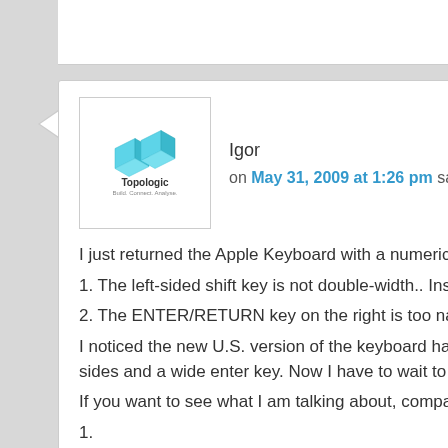[Figure (logo): Topologic logo — two overlapping cyan 3D cube shapes with text 'Topologic' and tagline 'Build. Connect. Analyse.']
Igor
on May 31, 2009 at 1:26 pm said:
I just returned the Apple Keyboard with a numeric keypad (UK version) for two reasons:
1. The left-sided shift key is not double-width.. Instead of capitilization, I hit the single quote key
2. The ENTER/RETURN key on the right is too narrow and vertical, I am not used to it.
I noticed the new U.S. version of the keyboard has the more traditional layout with wide shift keys on both sides and a wide enter key. Now I have to wait to see if they will update the UK keyboard soon.
If you want to see what I am talking about, compare these two images:
1.
http://images.apple.com/euro/keyboard/scripts/gallery/wired_